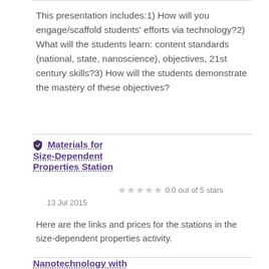This presentation includes:1) How will you engage/scaffold students' efforts via technology?2) What will the students learn: content standards (national, state, nanoscience), objectives, 21st century skills?3) How will the students demonstrate the mastery of these objectives?
Materials for Size-Dependent Properties Station
0.0 out of 5 stars
13 Jul 2015
Here are the links and prices for the stations in the size-dependent properties activity.
Nanotechnology with